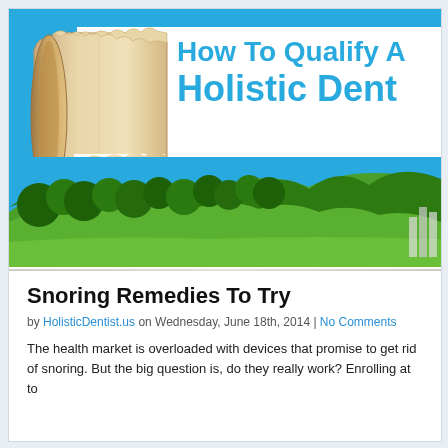[Figure (illustration): Blog post header banner image showing a torn paper scroll revealing the text 'How To Qualify A Holistic Dent' against a bright blue sky with green trees and a winding road landscape below.]
Snoring Remedies To Try
by HolisticDentist.us on Wednesday, June 18th, 2014 | No Comments
The health market is overloaded with devices that promise to get rid of snoring. But the big question is, do they really work? Enrolling at to...